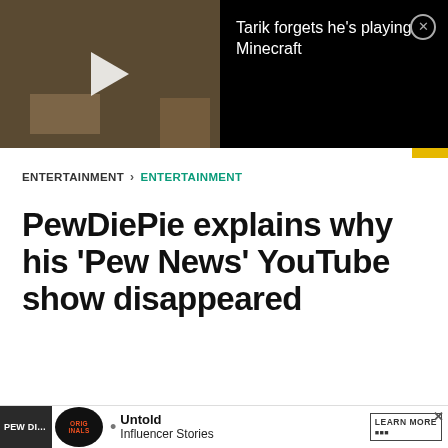[Figure (screenshot): Video player thumbnail showing a dark Minecraft-style scene with a play button, and video title 'Tarik forgets he's playing Minecraft' with close button]
ENTERTAINMENT > ENTERTAINMENT
PewDiePie explains why his 'Pew News' YouTube show disappeared
Bill Cooney   Last updated: May 10, 2019
[Figure (screenshot): Advertisement bar: PewDi... | ORIGINALS logo | bullet | Untold Influencer Stories | LEARN MORE | X close button]